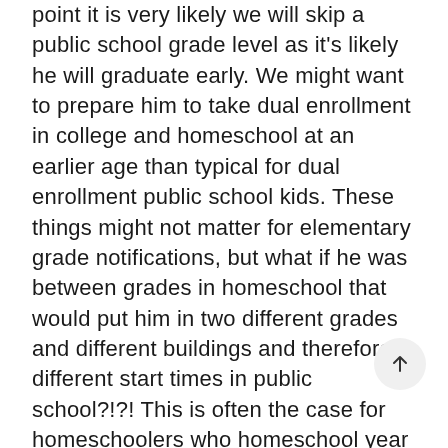point it is very likely we will skip a public school grade level as it's likely he will graduate early. We might want to prepare him to take dual enrollment in college and homeschool at an earlier age than typical for dual enrollment public school kids. These things might not matter for elementary grade notifications, but what if he was between grades in homeschool that would put him in two different grades and different buildings and therefore different start times in public school?!?! This is often the case for homeschoolers who homeschool year round and follow a January – December calendar instead of a traditional public school calendar year. You can see how this arbitrary deadline could be a problem for homeschoolers.

The lovely folks at Ohio Homeschooling Parents